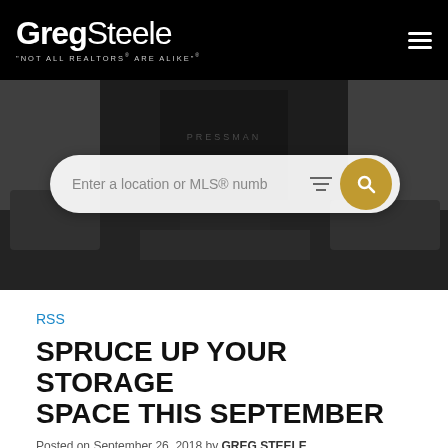Greg Steele — "NOT ALL REALTORS® ARE ALIKE"®
[Figure (photo): Hero image of a modern luxury living room interior in dark tones with a search bar overlay.]
Enter a location or MLS® numb
RSS
SPRUCE UP YOUR STORAGE SPACE THIS SEPTEMBER
Posted on September 26, 2018 by GREG STEELE
[Figure (other): Social sharing icons row: envelope, Facebook, Pinterest]